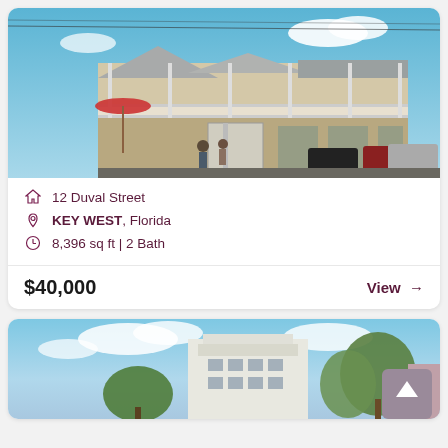[Figure (photo): Exterior photo of 12 Duval Street commercial building in Key West, Florida. Two-story white building with decorative porch railings, blue sky background, red umbrella and pedestrians visible at left, cars parked on street.]
12 Duval Street
KEY WEST, Florida
8,396 sq ft | 2 Bath
$40,000
View →
[Figure (photo): Partial exterior photo of a second property listing showing a white multi-story building with trees in foreground, blue sky background. A back-to-top scroll button is visible in the bottom right corner.]